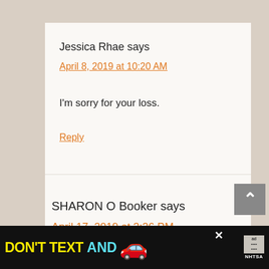Jessica Rhae says
April 8, 2019 at 10:20 AM
I'm sorry for your loss.
Reply
SHARON O Booker says
April 17, 2019 at 3:26 PM
[Figure (screenshot): Advertisement banner: DON'T TEXT AND [car emoji] with NHTSA logo and ad choice icon]
[Figure (other): Scroll-to-top button with upward chevron arrow]